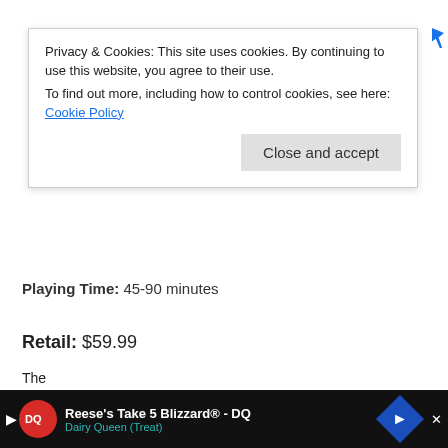[Figure (screenshot): Cookie/privacy banner overlay with text about cookies and a Close and accept button]
Playing Time: 45-90 minutes
Retail: $59.99
Rating: I'm on the fence — some gamers may love it, and some may hate it.
Who Will Like It? It's a bit like Magic: The Gathering, and a bit like Summoner Wars, but it depends on what you like or dislike from those games. If you like building up a deck and then battling with it but would rather have your luck come in the form of dice rather than a card draw, this might just be the perfect combination.
[Figure (screenshot): Bottom advertisement bar for Reese's Take 5 Blizzard - DQ, Dairy Queen (Treat)]
The